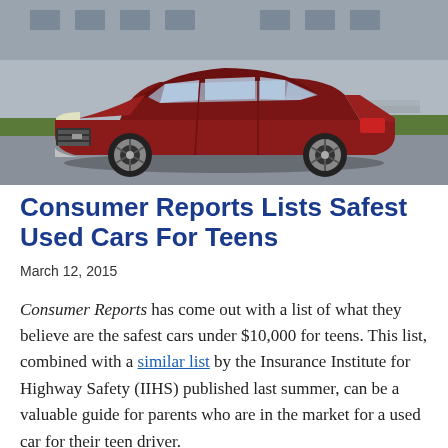[Figure (photo): Red Chevrolet Malibu sedan parked in front of a building, photographed from a front-left angle]
Consumer Reports Lists Safest Used Cars For Teens
March 12, 2015
Consumer Reports has come out with a list of what they believe are the safest cars under $10,000 for teens. This list, combined with a similar list by the Insurance Institute for Highway Safety (IIHS) published last summer, can be a valuable guide for parents who are in the market for a used car for their teen driver.